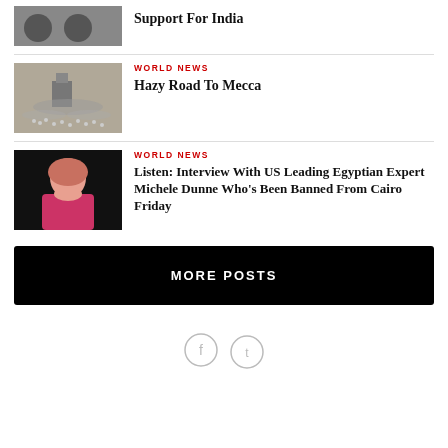[Figure (photo): Two men shaking hands, partial view]
Support For India
[Figure (photo): Aerial view of Mecca with crowds of pilgrims]
WORLD NEWS
Hazy Road To Mecca
[Figure (photo): Woman in pink jacket, dark background]
WORLD NEWS
Listen: Interview With US Leading Egyptian Expert Michele Dunne Who’s Been Banned From Cairo Friday
MORE POSTS
[Figure (other): Social media icons: Facebook and Twitter circles]